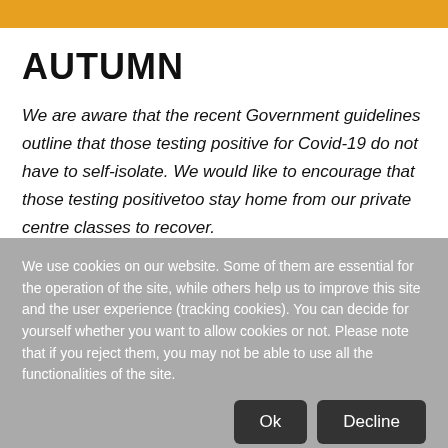AUTUMN
We are aware that the recent Government guidelines outline that those testing positive for Covid-19 do not have to self-isolate. We would like to encourage that those testing positivetoo stay home from our private centre classes to recover.
We use cookies on our website. Some of them are essential for the operation of the site, while others help us to improve this site and the user experience (tracking cookies). You can decide for yourself whether you want to allow cookies or not. Please note that if you reject them, you may not be able to use all the functionalities of the site.